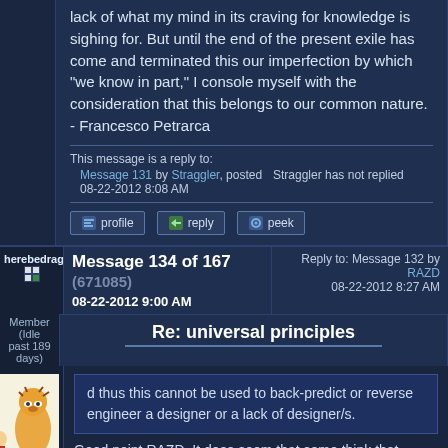lack of what my mind in its craving for knowledge is sighing for. But until the end of the present exile has come and terminated this our imperfection by which "we know in part," I console myself with the consideration that this belongs to our common nature. - Francesco Petrarca
This message is a reply to:
Message 131 by Straggler, posted 08-22-2012 8:08 AM
Straggler has not replied
herebedragons
Member (Idle past 189 days)
Message 134 of 167 (671085) 08-22-2012 9:00 AM
Reply to: Message 132 by RAZD 08-22-2012 8:27 AM
Re: universal principles
d thus this cannot be used to back-predict or reverse engineer a designer or a lack of designer/s.
Good point RAZD. It does seem that some think that because ID doesn't make a
Posts: 1517
From:
   Michigan
Joined:
   11-22-2000